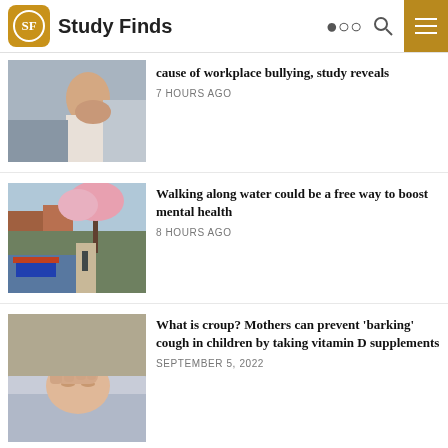Study Finds
[Figure (photo): Person with head in hands, appearing stressed, workplace setting]
cause of workplace bullying, study reveals
7 HOURS AGO
[Figure (photo): Canal waterway scene with blooming cherry trees, buildings, and people walking]
Walking along water could be a free way to boost mental health
8 HOURS AGO
[Figure (photo): Sick child lying down with adult hand on forehead checking temperature]
What is croup? Mothers can prevent 'barking' cough in children by taking vitamin D supplements
SEPTEMBER 5, 2022
CSI in space? Crime scene